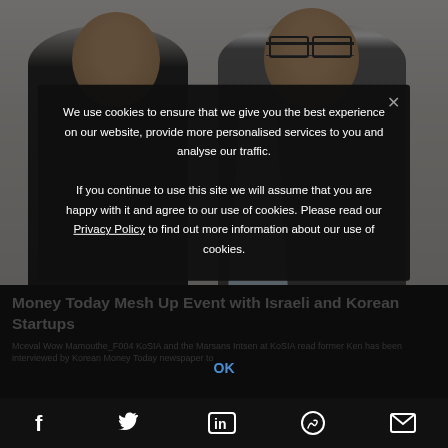[Figure (photo): Two men standing side by side against a light background. The man on the left is bald and wearing a dark shirt. The man on the right is wearing glasses and a grey suit jacket over a light blue shirt.]
Money Today Mesh Up Event with Israeli and Korean Startups
Mceval Wow Mamouthe_F004 KoSIA and the Marsans Intsen at KoSIA read former Ken has been interviewed by Korean Money Today newspaper to
We use cookies to ensure that we give you the best experience on our website, provide more personalised services to you and analyse our traffic.

If you continue to use this site we will assume that you are happy with it and agree to our use of cookies. Please read our Privacy Policy to find out more information about our use of cookies.
OK